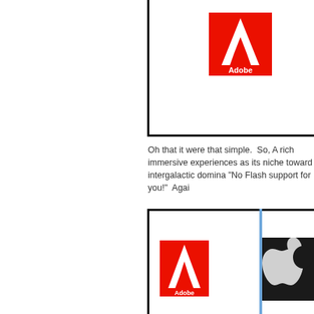[Figure (logo): Adobe logo (red rectangle with white A symbol and 'Adobe' text) in a bordered box, cropped at top]
Oh that it were that simple.  So, A rich immersive experiences as its niche toward intergalactic domina "No Flash support for you!"  Agai
[Figure (infographic): Bottom diagram showing Adobe logo on left and Apple logo on right, split by a blue vertical line, in a bordered box]